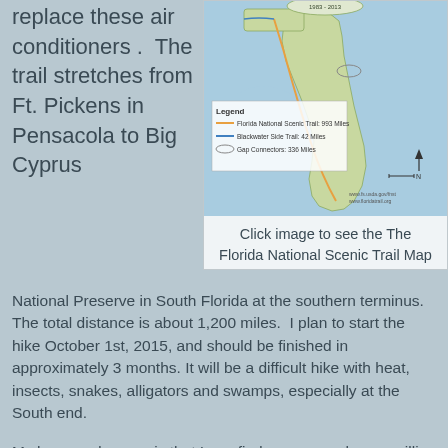replace these air conditioners .  The trail stretches from Ft. Pickens in Pensacola to Big Cyprus
[Figure (map): Florida National Scenic Trail Map 1983-2013 showing trail routes through Florida with legend indicating Florida National Scenic Trail 993 Miles, Blackwater Side Trail 42 Miles, Gap Connectors 336 Miles]
Click image to see the The Florida National Scenic Trail Map
National Preserve in South Florida at the southern terminus.  The total distance is about 1,200 miles.  I plan to start the hike October 1st, 2015, and should be finished in approximately 3 months. It will be a difficult hike with heat, insects, snakes, alligators and swamps, especially at the South end.
My hope and prayer is that I can find sponsors who are willing to pledge $1 per mile for this hike. Any pledge amount is appreciated, even a one-time donation. All proceeds will go directly to the